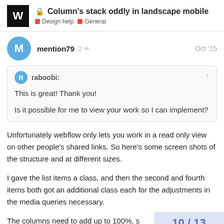Column's stack oddly in landscape mobile — Design help | General
mention79  2 ✏  Oct '15
raboobi:
This is great! Thank you!
Is it possible for me to view your work so I can implement?
Unfortunately webflow only lets you work in a read only view on other people's shared links. So here's some screen shots of the structure and at different sizes.
I gave the list items a class, and then the second and fourth items both got an additional class each for the adjustments in the media queries necessary.
The columns need to add up to 100%, s the gutter width, which I did at 2%, anc